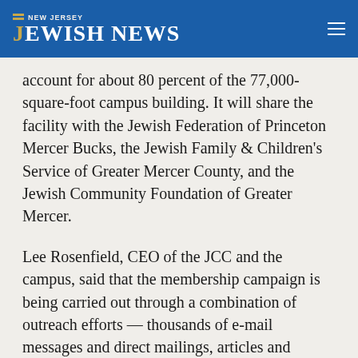NEW JERSEY JEWISH NEWS
account for about 80 percent of the 77,000-square-foot campus building. It will share the facility with the Jewish Federation of Princeton Mercer Bucks, the Jewish Family & Children's Service of Greater Mercer County, and the Jewish Community Foundation of Greater Mercer.
Lee Rosenfield, CEO of the JCC and the campus, said that the membership campaign is being carried out through a combination of outreach efforts — thousands of e-mail messages and direct mailings, articles and advertisements in the Jewish and non-Jewish press, telephone calls, announcements in synagogue bulletins, posters at the Princeton Junction and Trenton train stations, and the JCC